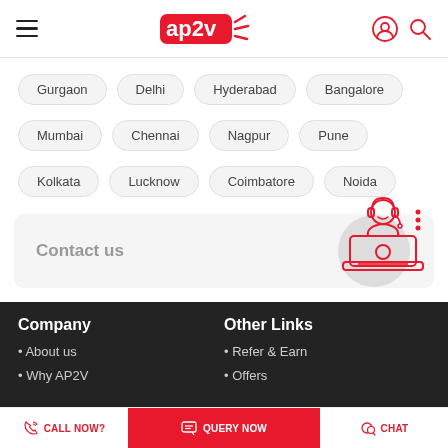ap2v
Gurgaon
Delhi
Hyderabad
Bangalore
Mumbai
Chennai
Nagpur
Pune
Kolkata
Lucknow
Coimbatore
Noida
Contact us
[Figure (illustration): Red line-art illustration of customer support agent with headset at laptop]
Company
Other Links
About us
Why AP2V
Refer & Earn
Offers
CALL NOW?   QUERY NOW   CHAT